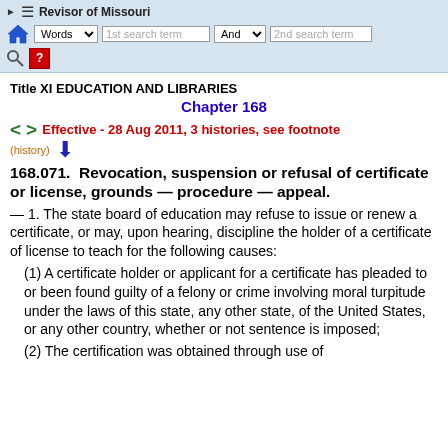Revisor of Missouri — navigation bar with Words search, And search, home, help icons
Title XI EDUCATION AND LIBRARIES
Chapter 168
Effective - 28 Aug 2011, 3 histories, see footnote
(history)
168.071.  Revocation, suspension or refusal of certificate or license, grounds — procedure — appeal.
— 1. The state board of education may refuse to issue or renew a certificate, or may, upon hearing, discipline the holder of a certificate of license to teach for the following causes:
(1) A certificate holder or applicant for a certificate has pleaded to or been found guilty of a felony or crime involving moral turpitude under the laws of this state, any other state, of the United States, or any other country, whether or not sentence is imposed;
(2) The certification was obtained through use of